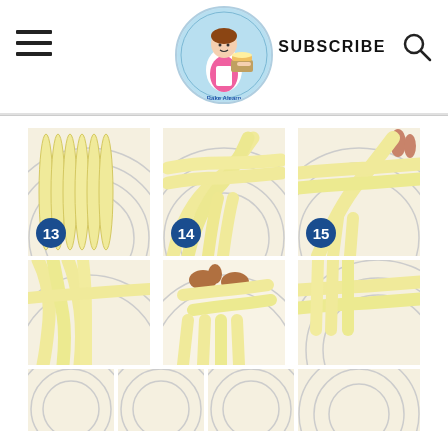Baking website header with hamburger menu, logo, SUBSCRIBE button and search icon
[Figure (photo): Step 13: Six ropes of bread dough laid out vertically on a baking mat]
[Figure (photo): Step 14: Bread dough ropes being crossed/braided in center on circular baking mat]
[Figure (photo): Step 15: Hand holding and arranging a bread dough rope in braiding pattern on mat]
[Figure (photo): Step 16 (partial): Braided bread dough on baking mat, lower row]
[Figure (photo): Step 17 (partial): Hands weaving/braiding bread dough strands on mat]
[Figure (photo): Step 18 (partial): Braided bread dough on circular baking mat]
[Figure (photo): Bottom row partial: Four partially visible bread dough images cut off at page bottom]